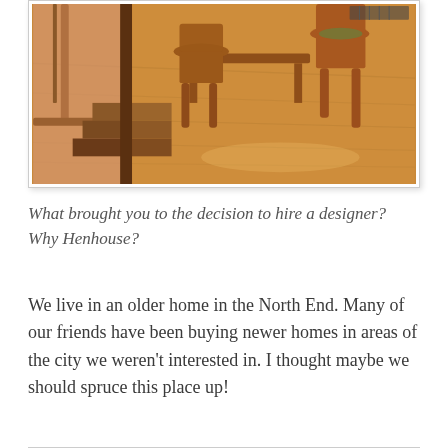[Figure (photo): Interior photo showing a hardwood floor dining area with mid-century modern wooden chairs around a table, warm orange-toned wood flooring, and a staircase railing visible on the left side.]
What brought you to the decision to hire a designer? Why Henhouse?
We live in an older home in the North End. Many of our friends have been buying newer homes in areas of the city we weren't interested in. I thought maybe we should spruce this place up!